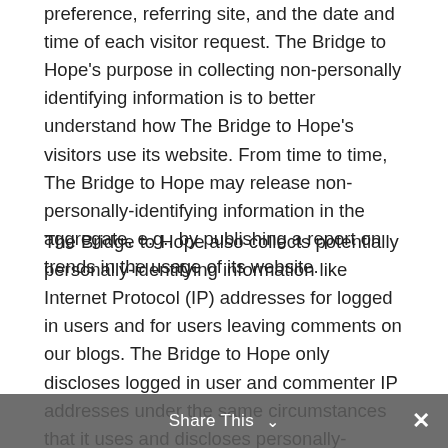preference, referring site, and the date and time of each visitor request. The Bridge to Hope's purpose in collecting non-personally identifying information is to better understand how The Bridge to Hope's visitors use its website. From time to time, The Bridge to Hope may release non-personally-identifying information in the aggregate, e.g., by publishing a report on trends in the usage of its website.
The Bridge to Hope also collects potentially personally-identifying information like Internet Protocol (IP) addresses for logged in users and for users leaving comments on our blogs. The Bridge to Hope only discloses logged in user and commenter IP addresses under the same circumstances that it uses and discloses personally-identifying information as described below, except that blog commenter IP addresses are visible and disclosed to the administrators of the blog where the comment was
Share This ∨  ✕